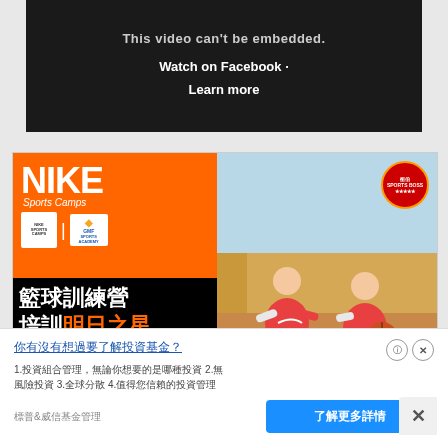[Figure (screenshot): Facebook video embed placeholder with dark background showing 'This video can't be embedded.' message with Watch on Facebook and Learn more links]
[Figure (photo): Nike Sports Camps basketball training camp advertisement in Chinese with orange and black branding, showing two young children playing basketball on left side and photo of kids playing basketball on right side]
[Figure (screenshot): Bottom advertisement banner with Chinese text links and a blue call-to-action button]